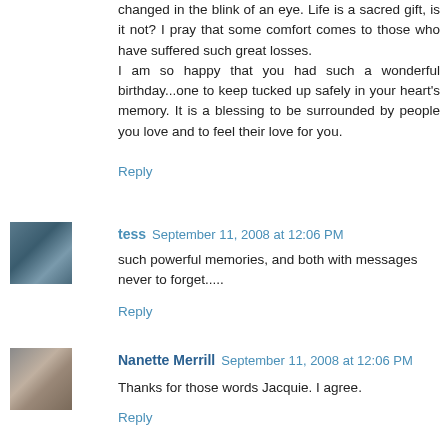changed in the blink of an eye. Life is a sacred gift, is it not? I pray that some comfort comes to those who have suffered such great losses.
I am so happy that you had such a wonderful birthday...one to keep tucked up safely in your heart's memory. It is a blessing to be surrounded by people you love and to feel their love for you.
Reply
tess September 11, 2008 at 12:06 PM
such powerful memories, and both with messages never to forget.....
Reply
Nanette Merrill September 11, 2008 at 12:06 PM
Thanks for those words Jacquie. I agree.
Reply